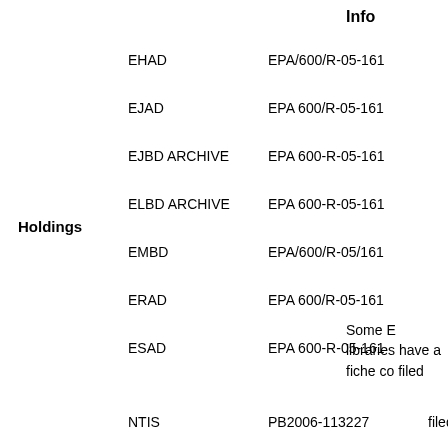Info
EHAD    EPA/600/R-05-161
EJAD    EPA 600/R-05-161
EJBD ARCHIVE    EPA 600-R-05-161
ELBD ARCHIVE    EPA 600-R-05-161
EMBD    EPA/600/R-05/161
ERAD    EPA 600/R-05-161
ESAD    EPA 600-R-05-161
Holdings
Some E libraries have a fiche co filed
NTIS    PB2006-113227    filed